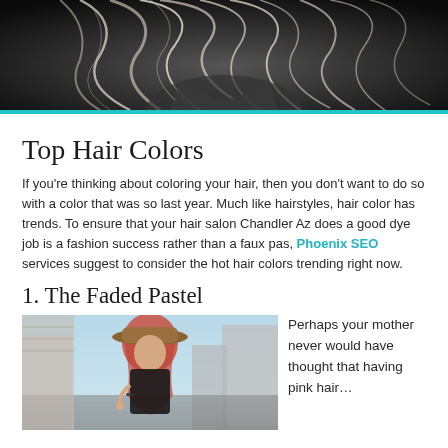[Figure (photo): Black and white photo of a woman with long flowing blonde hair tossed in the wind, against a dark background]
Top Hair Colors
If you're thinking about coloring your hair, then you don't want to do so with a color that was so last year. Much like hairstyles, hair color has trends. To ensure that your hair salon Chandler Az does a good dye job is a fashion success rather than a faux pas, Phoenix SEO services suggest to consider the hot hair colors trending right now.
1. The Faded Pastel
[Figure (photo): A woman with faded pastel/pink-red hair wearing a brown wide-brim hat, standing on a city street, looking down]
Perhaps your mother never would have thought that having pink hair…